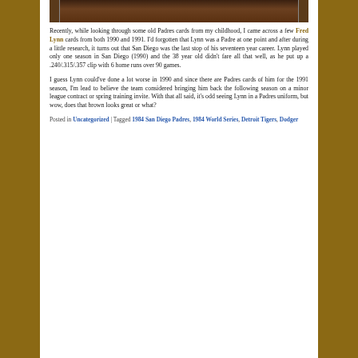[Figure (photo): Cropped bottom portion of a baseball player photo in a brown/dark uniform]
Recently, while looking through some old Padres cards from my childhood, I came across a few Fred Lynn cards from both 1990 and 1991. I'd forgotten that Lynn was a Padre at one point and after during a little research, it turns out that San Diego was the last stop of his seventeen year career. Lynn played only one season in San Diego (1990) and the 38 year old didn't fare all that well, as he put up a .240/.315/.357 clip with 6 home runs over 90 games.
I guess Lynn could've done a lot worse in 1990 and since there are Padres cards of him for the 1991 season, I'm lead to believe the team considered bringing him back the following season on a minor league contract or spring training invite. With that all said, it's odd seeing Lynn in a Padres uniform, but wow, does that brown looks great or what?
Posted in Uncategorized | Tagged 1984 San Diego Padres, 1984 World Series, Detroit Tigers, Dodger